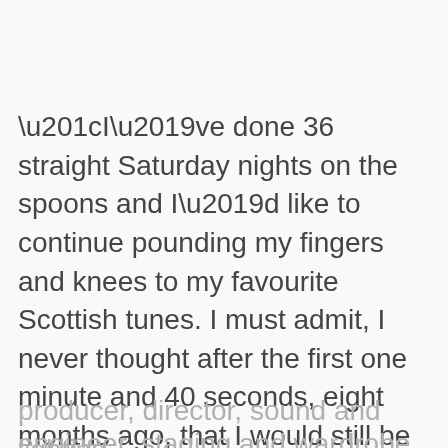“I’ve done 36 straight Saturday nights on the spoons and I’d like to continue pounding my fingers and knees to my favourite Scottish tunes. I must admit, I never thought after the first one minute and 40 seconds, eight months ago, that I would still be spooning away – but I’m enjoying it immensely. “And I couldn’t ask for a better
producer, director, sound and lighting
engineer, staging and wardrobe advisor